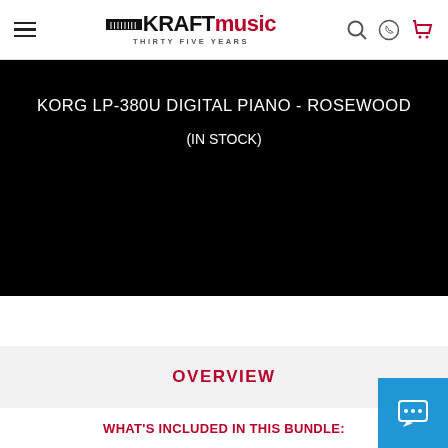Kraft Music — THIRTY FIVE YEARS
KORG LP-380U DIGITAL PIANO - ROSEWOOD
(IN STOCK)
OVERVIEW
WHAT'S INCLUDED IN THIS BUNDLE: